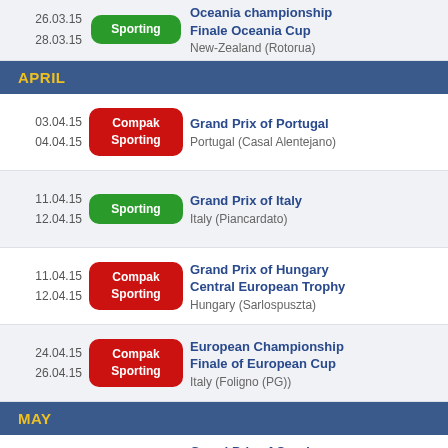26.03.15 / 28.03.15 — Sporting — Oceania championship / Finale Oceania Cup — New-Zealand (Rotorua)
APRIL
03.04.15 / 04.04.15 — Compak Sporting — Grand Prix of Portugal — Portugal (Casal Alentejano)
11.04.15 / 12.04.15 — Sporting — Grand Prix of Italy — Italy (Piancardato)
11.04.15 / 12.04.15 — Compak Sporting — Grand Prix of Hungary / Central European Trophy — Hungary (Sarlospuszta)
24.04.15 / 26.04.15 — Compak Sporting — European Championship / Finale of European Cup — Italy (Foligno (PG))
MAY
02.05.15 / 03.05.15 — Compak Sporting — Grand Prix of Czech Republic / Central European Trophy — Czech republic (Sudicky Dvur Boskovice)